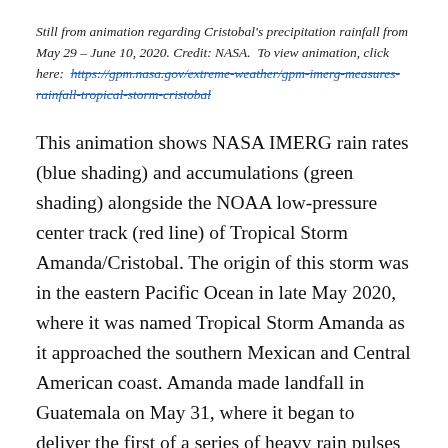Still from animation regarding Cristobal's precipitation rainfall from May 29 – June 10, 2020. Credit: NASA. To view animation, click here: https://gpm.nasa.gov/extreme-weather/gpm-imerg-measures-rainfall-tropical-storm-cristobal
This animation shows NASA IMERG rain rates (blue shading) and accumulations (green shading) alongside the NOAA low-pressure center track (red line) of Tropical Storm Amanda/Cristobal. The origin of this storm was in the eastern Pacific Ocean in late May 2020, where it was named Tropical Storm Amanda as it approached the southern Mexican and Central American coast. Amanda made landfall in Guatemala on May 31, where it began to deliver the first of a series of heavy rain pulses